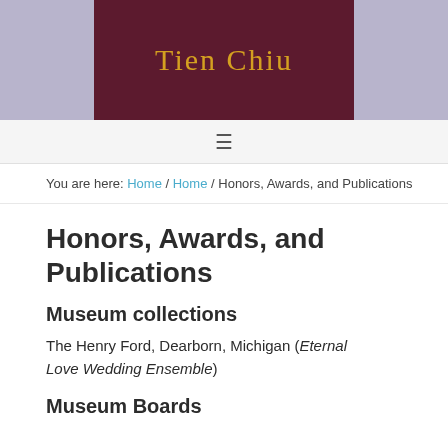[Figure (illustration): Website header banner for Tien Chiu. Center panel shows dark maroon/burgundy fabric with gold text 'Tien Chiu'. Side panels show light purple/lavender woven textile background.]
≡
You are here: Home / Home / Honors, Awards, and Publications
Honors, Awards, and Publications
Museum collections
The Henry Ford, Dearborn, Michigan (Eternal Love Wedding Ensemble)
Museum Boards